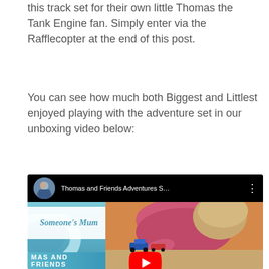this track set for their own little Thomas the Tank Engine fan. Simply enter via the Rafflecopter at the end of this post.
You can see how much both Biggest and Littlest enjoyed playing with the adventure set in our unboxing video below:
[Figure (screenshot): YouTube video embed showing 'Thomas and Friends Adventures S...' with a thumbnail of a child playing with Thomas the Tank Engine toys. The video header shows a circular avatar of a woman, the video title, and a three-dot menu. The thumbnail shows 'Someone's Mum' text overlay on left side and a child leaning over toy trains. Bottom banner shows 'MAS AND FRIENDS' text. A red YouTube play button is centered on the thumbnail.]